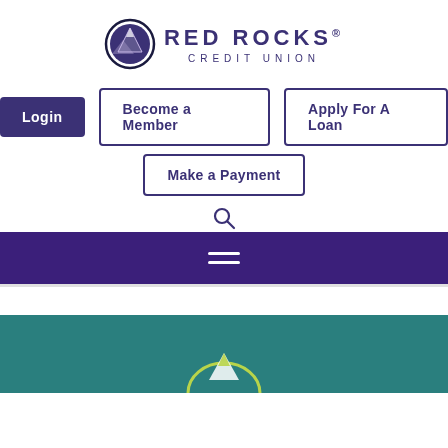[Figure (logo): Red Rocks Credit Union logo with mountain emblem in circle, text 'RED ROCKS CREDIT UNION' in purple]
Login
Become a Member
Apply For A Loan
Make a Payment
[Figure (other): Search icon (magnifying glass)]
[Figure (other): Purple navigation bar with hamburger menu icon]
[Figure (other): Teal banner section with partial mountain/arch logo visible at bottom]